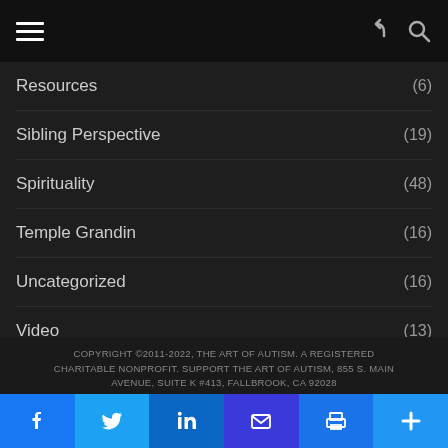Navigation header with hamburger menu, share and search icons
Resources (6)
Sibling Perspective (19)
Spirituality (48)
Temple Grandin (16)
Uncategorized (16)
Video (13)
Writing Resources (2)
COPYRIGHT ©2011-2022, THE ART OF AUTISM. A REGISTERED CHARITABLE NONPROFIT. SUPPORT THE ART OF AUTISM, 855 S. MAIN AVENUE, SUITE K #413, FALLBROOK, CA 92028